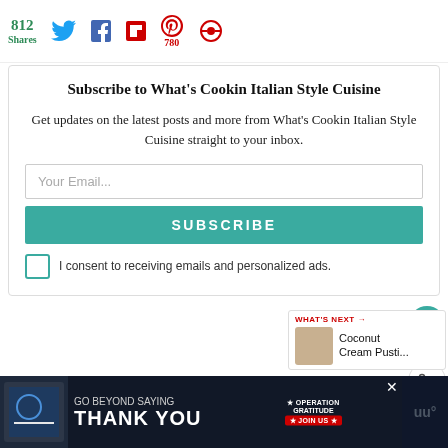[Figure (screenshot): Share bar with 812 Shares count, Twitter, Facebook, Flipboard, Pinterest (780), and other social icons]
Subscribe to What's Cookin Italian Style Cuisine
Get updates on the latest posts and more from What's Cookin Italian Style Cuisine straight to your inbox.
[Figure (screenshot): Email subscription form with Your Email... input field, SUBSCRIBE button, and consent checkbox saying 'I consent to receiving emails and personalized ads.']
[Figure (screenshot): Right side floating action buttons: heart icon with count 42, share icon]
[Figure (screenshot): What's Next banner showing Coconut Cream Pusti... with thumbnail]
[Figure (screenshot): Advertisement bar: GO BEYOND SAYING THANK YOU - Operation Gratitude JOIN US ad with close button]